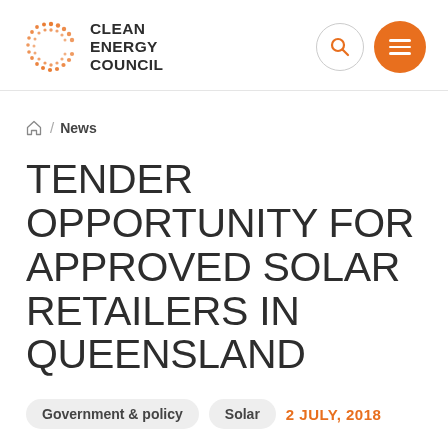[Figure (logo): Clean Energy Council logo with orange dotted C icon and bold text CLEAN ENERGY COUNCIL]
Clean Energy Council website header with search and menu icons
⌂ / News
TENDER OPPORTUNITY FOR APPROVED SOLAR RETAILERS IN QUEENSLAND
Government & policy  Solar  2 JULY, 2018